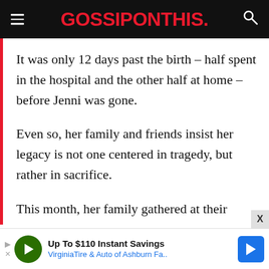GOSSIPONTHIS.
It was only 12 days past the birth – half spent in the hospital and the other half at home – before Jenni was gone.
Even so, her family and friends insist her legacy is not one centered in tragedy, but rather in sacrifice.
This month, her family gathered at their
Up To $110 Instant Savings
VirginiaTire & Auto of Ashburn Fa..